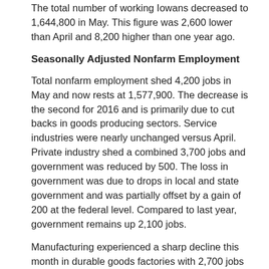The total number of working Iowans decreased to 1,644,800 in May. This figure was 2,600 lower than April and 8,200 higher than one year ago.
Seasonally Adjusted Nonfarm Employment
Total nonfarm employment shed 4,200 jobs in May and now rests at 1,577,900. The decrease is the second for 2016 and is primarily due to cut backs in goods producing sectors. Service industries were nearly unchanged versus April. Private industry shed a combined 3,700 jobs and government was reduced by 500. The loss in government was due to drops in local and state government and was partially offset by a gain of 200 at the federal level. Compared to last year, government remains up 2,100 jobs.
Manufacturing experienced a sharp decline this month in durable goods factories with 2,700 jobs pared overall. This sector has been steadily trending down and dealing with reduced demand forecasts for machinery and transportation products. Construction also experienced a reduction in May (-1,400); however, this drop follows very